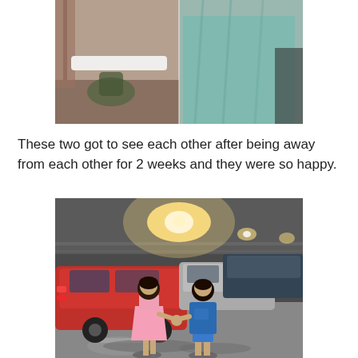[Figure (photo): Top portion of a photo showing a bathroom/room scene with a baby bouncer seat visible, a white bathtub edge, and a person wearing a light blue/teal garment on the right side.]
These two got to see each other after being away from each other for 2 weeks and they were so happy.
[Figure (photo): Two young children holding hands and walking together in a parking garage at night. The girl on the left wears a pink dress and the boy on the right wears a blue t-shirt and shorts. Several cars are visible in the background including a red car on the left and silver/dark SUVs. Bright overhead lights illuminate the scene.]